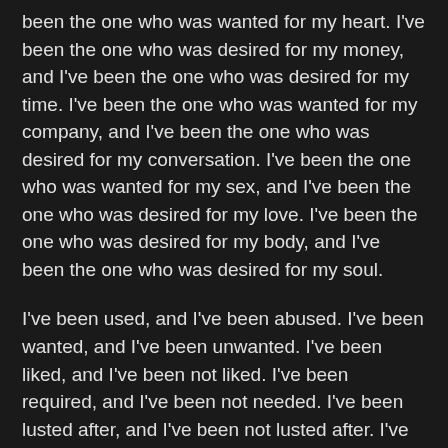been the one who was wanted for my heart. I've been the one who was desired for my money, and I've been the one who was desired for my time. I've been the one who was wanted for my company, and I've been the one who was desired for my conversation. I've been the one who was wanted for my sex, and I've been the one who was desired for my love. I've been the one who was desired for my body, and I've been the one who was desired for my soul.
I've been used, and I've been abused. I've been wanted, and I've been unwanted. I've been liked, and I've been not liked. I've been required, and I've been not needed. I've been lusted after, and I've been not lusted after. I've been desired for my body, and I've been wanted for my mind. I've been wanted for my soul, and I've been desired for my heart. I've been desired for my cash, and I've been desired for my time. I've been wanted for my business, and I've been wanted for my conversation. I've been